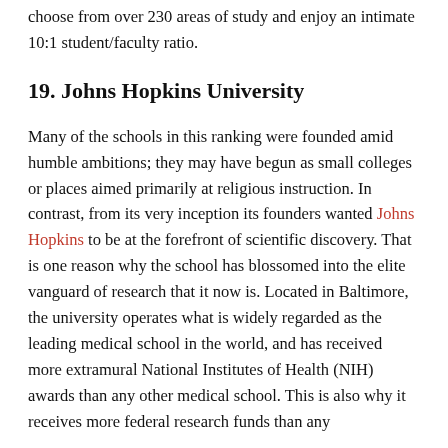choose from over 230 areas of study and enjoy an intimate 10:1 student/faculty ratio.
19. Johns Hopkins University
Many of the schools in this ranking were founded amid humble ambitions; they may have begun as small colleges or places aimed primarily at religious instruction. In contrast, from its very inception its founders wanted Johns Hopkins to be at the forefront of scientific discovery. That is one reason why the school has blossomed into the elite vanguard of research that it now is. Located in Baltimore, the university operates what is widely regarded as the leading medical school in the world, and has received more extramural National Institutes of Health (NIH) awards than any other medical school. This is also why it receives more federal research funds than any